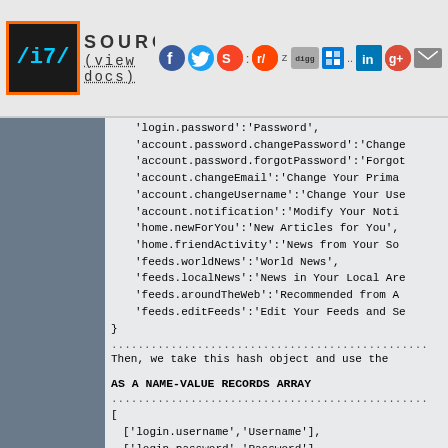SOURCE (view docs) [social icons: Facebook, Twitter, StumbleUpon, Reddit, Digg, Windows, LinkedIn, Google+, Mail]
'login.password':'Password',
'account.password.changePassword':'Change...
'account.password.forgotPassword':'Forgot...
'account.changeEmail':'Change Your Prima...
'account.changeUsername':'Change Your Use...
'account.notification':'Modify Your Noti...
'home.newForYou':'New Articles for You',
'home.friendActivity':'News from Your So...
'feeds.worldNews':'World News',
'feeds.localNews':'News in Your Local Are...
'feeds.aroundTheWeb':'Recommended from A...
'feeds.editFeeds':'Edit Your Feeds and Se...
}
...............................................
Then, we take this hash object and use the
AS A NAME-VALUE RECORDS ARRAY
...............................................
[
  ['login.username','Username'],
  ['login.password','Password'],
  ['account.password.changePassword','Chan...
  ['account.password.forgotPassword','Forg...
  ['account.changeEmail','Change Your Prima...
  ['account.changeUsername','Change Your...